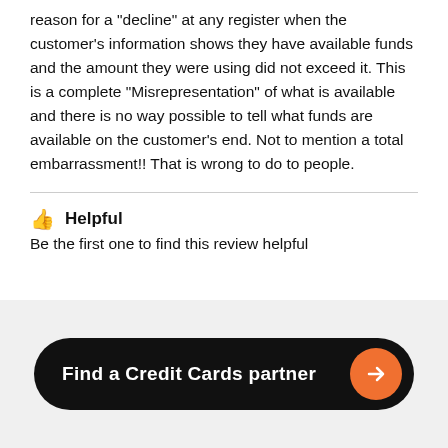reason for a "decline" at any register when the customer's information shows they have available funds and the amount they were using did not exceed it. This is a complete "Misrepresentation" of what is available and there is no way possible to tell what funds are available on the customer's end. Not to mention a total embarrassment!! That is wrong to do to people.
👍 Helpful
Be the first one to find this review helpful
[Figure (other): Black rounded-rectangle button with white bold text 'Find a Credit Cards partner' and an orange circular arrow icon on the right]